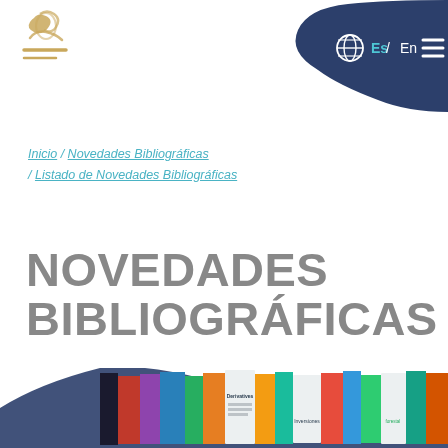[Figure (logo): ECLAC/CEPAL logo: gold wave/figure icon with horizontal lines underneath, top-left corner]
[Figure (screenshot): Dark navy blue rounded blob shape top-right containing globe icon, 'Es / En' language toggle in teal, and hamburger menu icon in white]
Inicio /  Novedades Bibliográficas  /  Listado de Novedades Bibliográficas
NOVEDADES BIBLIOGRÁFICAS
[Figure (photo): Photo of a book display rack with many book covers and magazine covers visible, including one titled 'Derivatives' and 'Inversiones', shown inside a dark navy blob/wave shape at the bottom of the page]